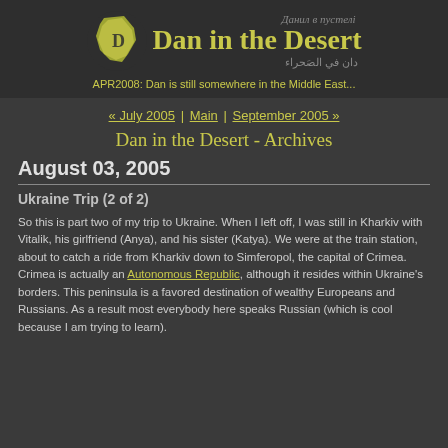Данил в пустелі | Dan in the Desert | دان في الصَحراء
APR2008: Dan is still somewhere in the Middle East...
« July 2005 | Main | September 2005 »
Dan in the Desert - Archives
August 03, 2005
Ukraine Trip (2 of 2)
So this is part two of my trip to Ukraine. When I left off, I was still in Kharkiv with Vitalik, his girlfriend (Anya), and his sister (Katya). We were at the train station, about to catch a ride from Kharkiv down to Simferopol, the capital of Crimea. Crimea is actually an Autonomous Republic, although it resides within Ukraine's borders. This peninsula is a favored destination of wealthy Europeans and Russians. As a result most everybody here speaks Russian (which is cool because I am trying to learn).